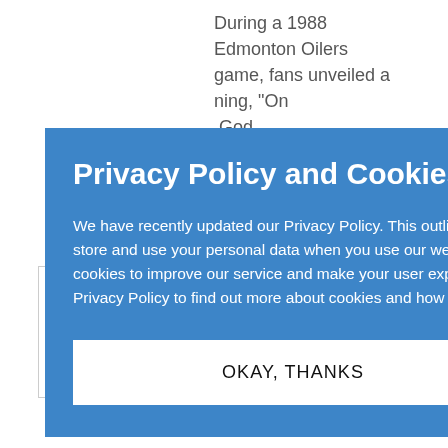During a 1988 Edmonton Oilers game, fans unveiled a banner reading, "On God We Trust in Gretzky." ...s between belief and participation ...new,
[Figure (screenshot): Privacy Policy and Cookies modal popup overlay on a webpage. Blue background modal with title 'Privacy Policy and Cookies', body text explaining updated privacy policy and cookie usage, and an 'OKAY, THANKS' button.]